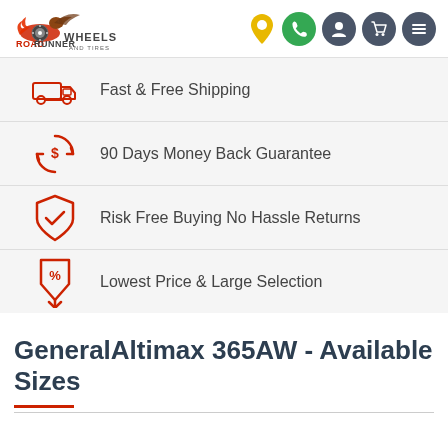[Figure (logo): RoadRunner Wheels and Tires logo with eagle and flame design, red and dark text]
Fast & Free Shipping
90 Days Money Back Guarantee
Risk Free Buying No Hassle Returns
Lowest Price & Large Selection
GeneralAltimax 365AW - Available Sizes